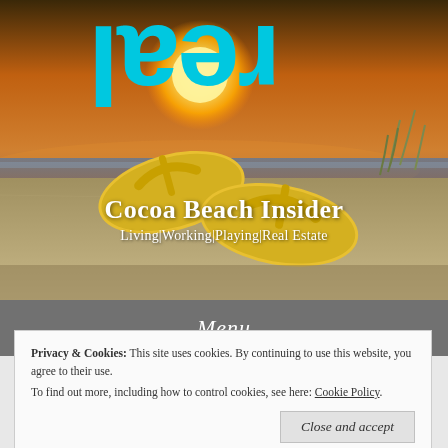[Figure (photo): Beach sunset scene with yellow flip flops on sand, orange sky with sun, serving as hero banner background]
real
Cocoa Beach Insider
Living|Working|Playing|Real Estate
Menu
Privacy & Cookies: This site uses cookies. By continuing to use this website, you agree to their use.
To find out more, including how to control cookies, see here: Cookie Policy
Close and accept